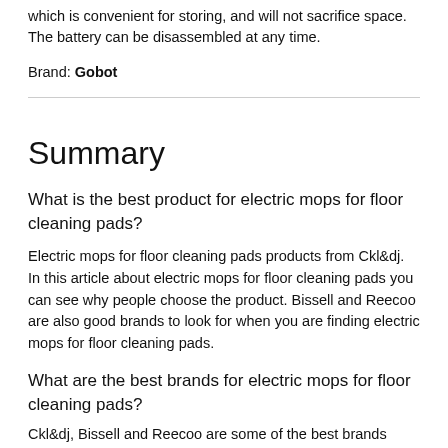which is convenient for storing, and will not sacrifice space. The battery can be disassembled at any time.
Brand: Gobot
Summary
What is the best product for electric mops for floor cleaning pads?
Electric mops for floor cleaning pads products from Ckl&dj. In this article about electric mops for floor cleaning pads you can see why people choose the product. Bissell and Reecoo are also good brands to look for when you are finding electric mops for floor cleaning pads.
What are the best brands for electric mops for floor cleaning pads?
Ckl&dj, Bissell and Reecoo are some of the best brands